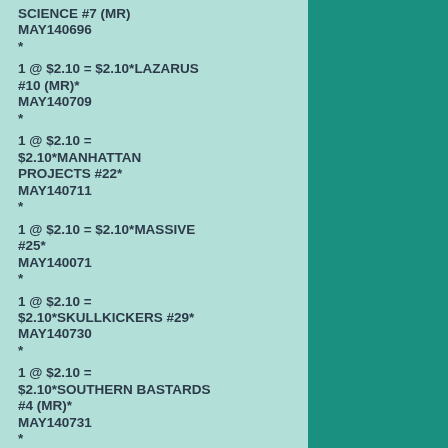SCIENCE #7 (MR) MAY140696
*
1 @ $2.10 = $2.10*LAZARUS #10 (MR)* MAY140709
*
1 @ $2.10 = $2.10*MANHATTAN PROJECTS #22* MAY140711
*
1 @ $2.10 = $2.10*MASSIVE #25* MAY140071
*
1 @ $2.10 = $2.10*SKULLKICKERS #29* MAY140730
*
1 @ $2.10 = $2.10*SOUTHERN BASTARDS #4 (MR)* MAY140731
*
1 @ $2.10 = $2.10*STRAY